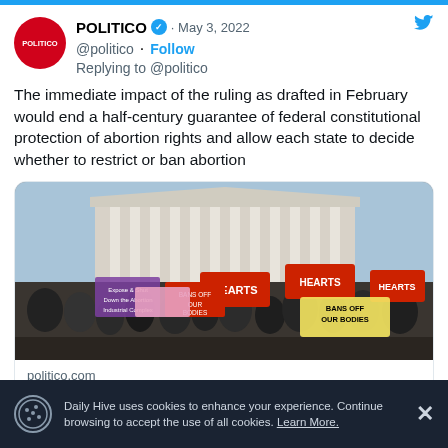POLITICO · May 3, 2022 · @politico · Follow · Replying to @politico
The immediate impact of the ruling as drafted in February would end a half-century guarantee of federal constitutional protection of abortion rights and allow each state to decide whether to restrict or ban abortion
[Figure (photo): Protest crowd outside the US Supreme Court building holding signs including 'HEARTS', 'BANS OFF OUR BODIES', 'Expose & Shut Down the Abortion Industrial Complex NOW', and other abortion rights and anti-abortion signs]
politico.com
Exclusive: Supreme Court has voted to
Daily Hive uses cookies to enhance your experience. Continue browsing to accept the use of all cookies. Learn More.